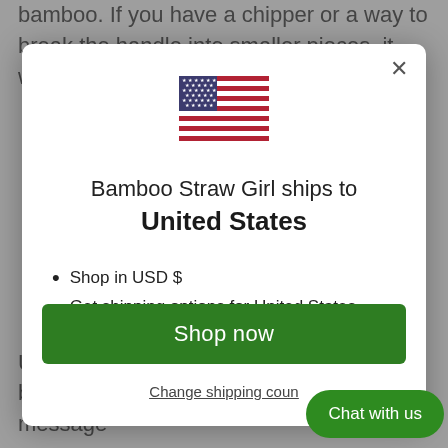bamboo. If you have a chipper or a way to break the handle into smaller pieces, it will break down more
[Figure (screenshot): Modal dialog on a website: US flag icon at top, title 'Bamboo Straw Girl ships to United States', bullet list with 'Shop in USD $' and 'Get shipping options for United States', green 'Shop now' button, 'Change shipping country' link, and 'Chat with us' floating button]
USD $ questions? Ask us at bamboostrawgirl@gmail.com or direct message